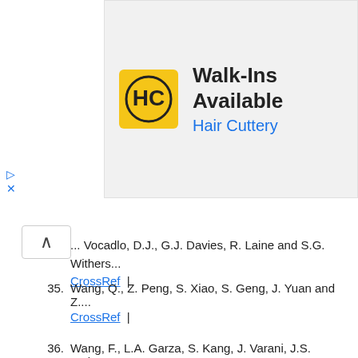[Figure (other): Advertisement banner for Hair Cuttery salon showing logo and 'Walk-Ins Available' text]
... Vocadlo, D.J., G.J. Davies, R. Laine and S.G. Withers...
CrossRef |
35. Wang, Q., Z. Peng, S. Xiao, S. Geng, J. Yuan and Z. ...
CrossRef |
36. Wang, F., L.A. Garza, S. Kang, J. Varani, J.S. Orringe... acid dermal filler injections in photodamaged human ...
PubMed |
37. Wei, S., L.T. Chow, I.O. Shum, L. Qin and J.E. Sande...
136...